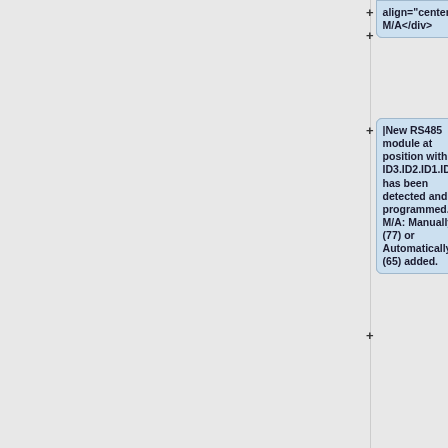align="center">
M/A</div>
|New RS485 module at position with ID3.ID2.ID1.ID0 has been detected and programmed. M/A: Manually (77) or Automatically (65) added.
|-
!<div align="center">
200</div>
!<div align="center">
0</div>